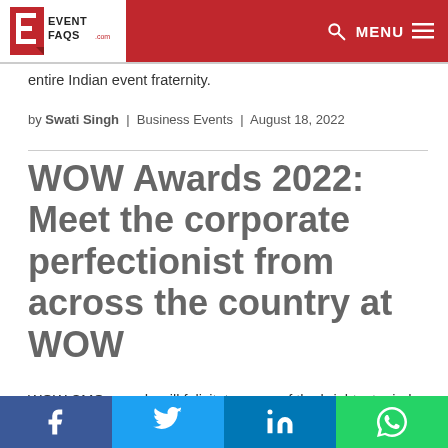EventFaqs.com — MENU
entire Indian event fraternity.
by Swati Singh | Business Events | August 18, 2022
WOW Awards 2022: Meet the corporate perfectionist from across the country at WOW
WOW CMO awards will felicitate some of the brightest minds of the country's marketing
Facebook | Twitter | LinkedIn | WhatsApp